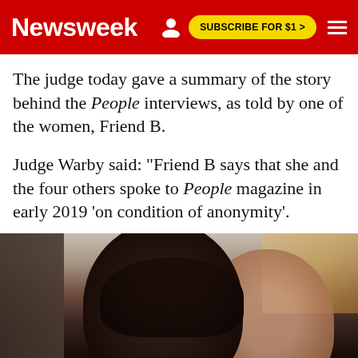Newsweek | SUBSCRIBE FOR $1 >
The judge today gave a summary of the story behind the People interviews, as told by one of the women, Friend B.
Judge Warby said: "Friend B says that she and the four others spoke to People magazine in early 2019 'on condition of anonymity'.
[Figure (photo): Blurred photograph of two people — a dark-haired woman in the foreground and a man with reddish hair in the background, with a warm-toned blurred background.]